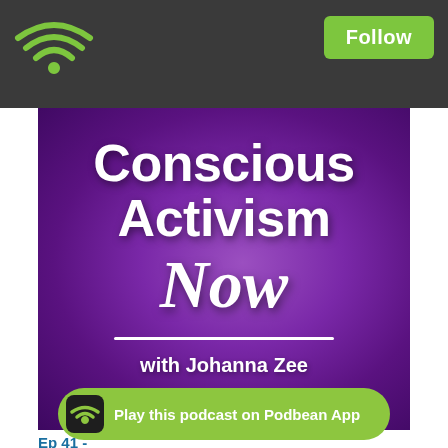[Figure (screenshot): Podbean podcast app screenshot showing 'Conscious Activism Now with Johanna Zee' podcast cover art on a purple gradient background, with a dark top bar containing a wifi icon and a green Follow button, a green Podbean app banner at the bottom, and an episode label 'Ep 41 -' at the very bottom.]